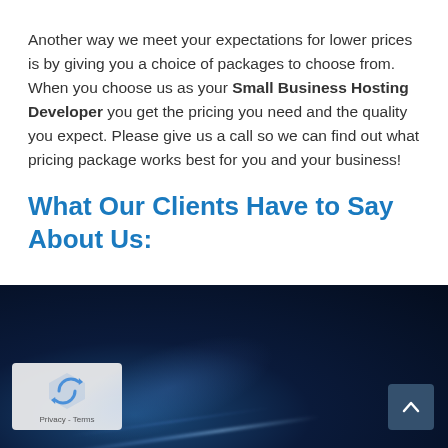Another way we meet your expectations for lower prices is by giving you a choice of packages to choose from. When you choose us as your Small Business Hosting Developer you get the pricing you need and the quality you expect. Please give us a call so we can find out what pricing package works best for you and your business!
What Our Clients Have to Say About Us:
[Figure (screenshot): Dark blue gradient background panel with light streaks suggesting a technology/web theme. Contains a reCAPTCHA badge in the lower left and a scroll-to-top button in the lower right.]